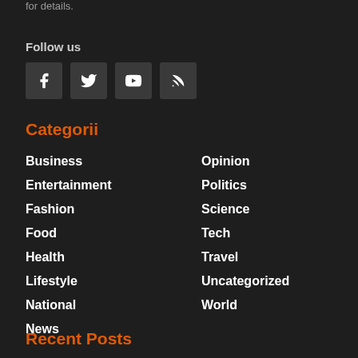for details.
Follow us
[Figure (infographic): Social media icons: Facebook, Twitter, YouTube, RSS feed]
Categorii
Business
Opinion
Entertainment
Politics
Fashion
Science
Food
Tech
Health
Travel
Lifestyle
Uncategorized
National
World
News
Recent Posts